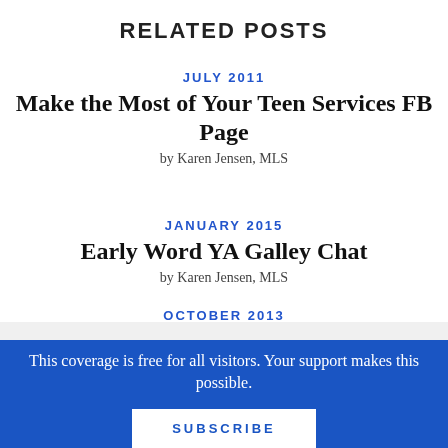RELATED POSTS
JULY 2011
Make the Most of Your Teen Services FB Page
by Karen Jensen, MLS
JANUARY 2015
Early Word YA Galley Chat
by Karen Jensen, MLS
OCTOBER 2013
This coverage is free for all visitors. Your support makes this possible.
SUBSCRIBE